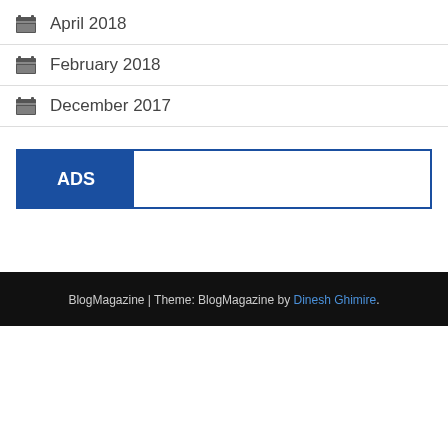April 2018
February 2018
December 2017
ADS
BlogMagazine | Theme: BlogMagazine by Dinesh Ghimire.